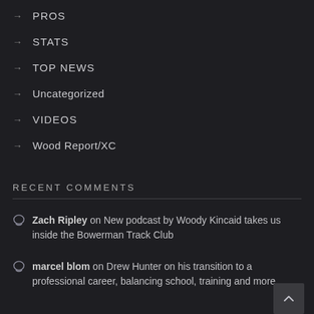→ PROS
→ STATS
→ TOP NEWS
→ Uncategorized
→ VIDEOS
→ Wood Report/XC
RECENT COMMENTS
Zach Ripley on New podcast by Woody Kincaid takes us inside the Bowerman Track Club
marcel blom on Drew Hunter on his transition to a professional career, balancing school, training and more